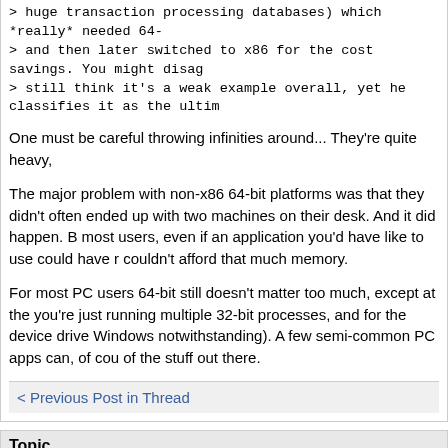> huge transaction processing databases) which *really* needed 64-
> and then later switched to x86 for the cost savings. You might disag
> still think it's a weak example overall, yet he classifies it as the ultim
One must be careful throwing infinities around... They're quite heavy,
The major problem with non-x86 64-bit platforms was that they didn't often ended up with two machines on their desk. And it did happen. B most users, even if an application you'd have like to use could have r couldn't afford that much memory.
For most PC users 64-bit still doesn't matter too much, except at the you're just running multiple 32-bit processes, and for the device drive Windows notwithstanding). A few semi-common PC apps can, of cou of the stuff out there.
< Previous Post in Thread
Topic
Article Online: Microservers must Specialize to Survive
Article Online: Microservers must Specialize to Survive
Article Online: Microservers must Specialize to Survive
Article Online: Microservers must Specialize to Survive
Article Online: Microservers must Specialize to Survive
Article Online: Microservers must Specialize to Survive